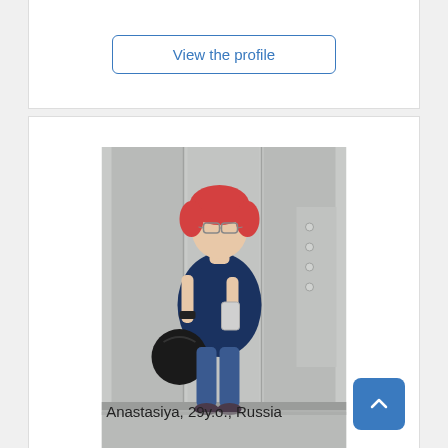View the profile
[Figure (photo): A young woman with short pink/red hair and glasses, wearing a navy blue short-sleeve dress, taking a mirror selfie in an elevator while holding a black handbag and wearing a watch.]
Anastasiya, 29y.o., Russia